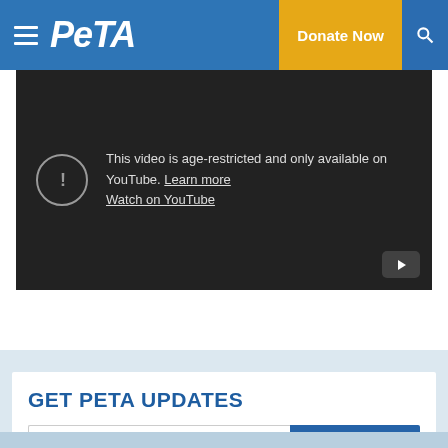PETA | Donate Now
[Figure (screenshot): YouTube embedded video placeholder showing age-restriction message: 'This video is age-restricted and only available on YouTube. Learn more. Watch on YouTube.' with exclamation icon and YouTube play button.]
GET PETA UPDATES
E-Mail Address
SUBMIT